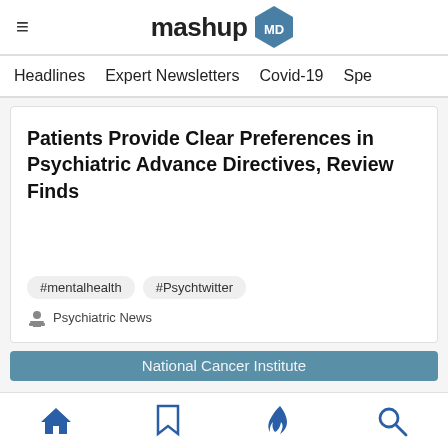mashup MD
Headlines   Expert Newsletters   Covid-19   Spe
Patients Provide Clear Preferences in Psychiatric Advance Directives, Review Finds
#mentalhealth  #Psychtwitter
Psychiatric News
National Cancer Institute
Home  Bookmark  Trending  Search